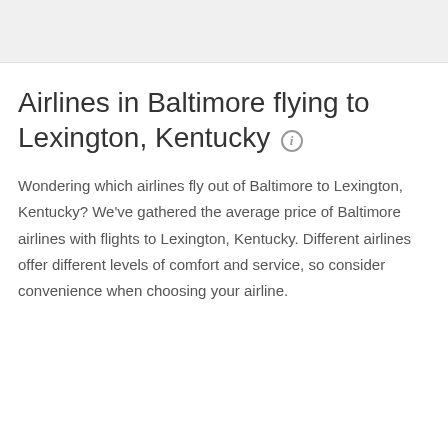Airlines in Baltimore flying to Lexington, Kentucky
Wondering which airlines fly out of Baltimore to Lexington, Kentucky? We've gathered the average price of Baltimore airlines with flights to Lexington, Kentucky. Different airlines offer different levels of comfort and service, so consider convenience when choosing your airline.